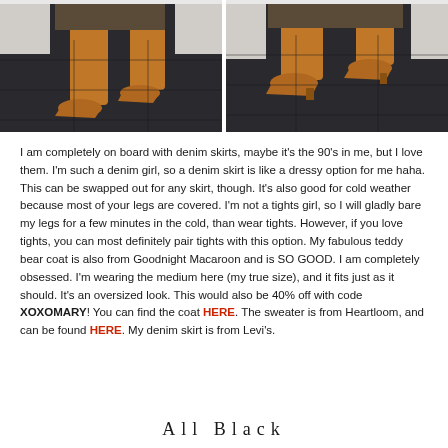[Figure (photo): Two side-by-side photos showing tan/caramel suede over-the-knee boots worn with a dark skirt, standing on a dark tile floor near a white door. Left image shows full boot length; right image shows a closer/shorter view.]
I am completely on board with denim skirts, maybe it's the 90's in me, but I love them. I'm such a denim girl, so a denim skirt is like a dressy option for me haha. This can be swapped out for any skirt, though. It's also good for cold weather because most of your legs are covered. I'm not a tights girl, so I will gladly bare my legs for a few minutes in the cold, than wear tights. However, if you love tights, you can most definitely pair tights with this option. My fabulous teddy bear coat is also from Goodnight Macaroon and is SO GOOD. I am completely obsessed. I'm wearing the medium here (my true size), and it fits just as it should. It's an oversized look. This would also be 40% off with code XOXOMARY! You can find the coat HERE. The sweater is from Heartloom, and can be found HERE. My denim skirt is from Levi's.
All Black